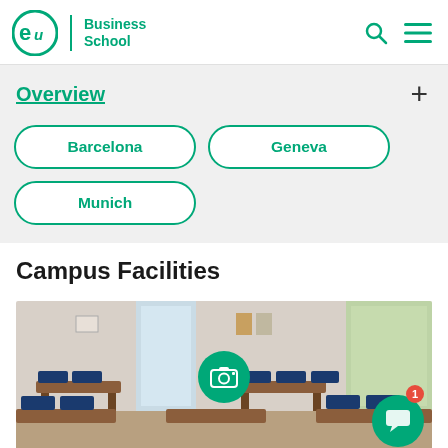[Figure (logo): EU Business School logo with circular 'eu' icon and text 'Business School' in teal/green color]
EU | Business School
Overview
Barcelona
Geneva
Munich
Campus Facilities
[Figure (photo): Classroom interior with blue chairs at wooden desks, large windows with natural light, a green camera/gallery button overlay in the center]